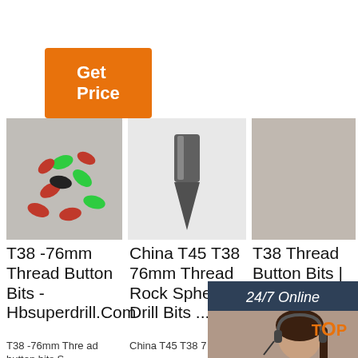Get Price
[Figure (photo): Small colorful plastic button bits in red, green, and black colors scattered on a surface]
[Figure (photo): Single gray metal T45 T38 thread rock drill bit, chisel-shaped, on white background]
[Figure (photo): Customer service representative woman with headset smiling, with 24/7 Online overlay and chat panel]
T38 -76mm Thread Button Bits - Hbsuperdrill.Com
China T45 T38 76mm Thread Rock Spherical Drill Bits ...
T38 Thread Button Bits | Top Hammer Bit | Rock ...
T38 -76mm Thread button bits S
China T45 T38 7
Button bits factor